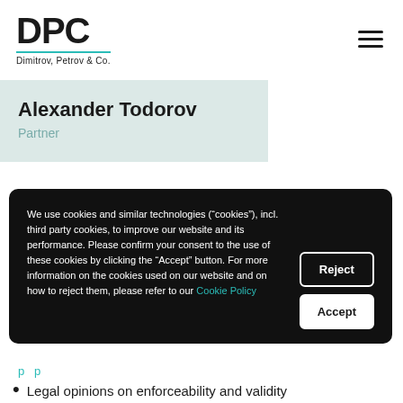[Figure (logo): DPC Dimitrov, Petrov & Co. law firm logo with teal underline]
Alexander Todorov
Partner
We use cookies and similar technologies (“cookies”), incl. third party cookies, to improve our website and its performance. Please confirm your consent to the use of these cookies by clicking the “Accept” button. For more information on the cookies used on our website and on how to reject them, please refer to our Cookie Policy
Legal opinions on enforceability and validity